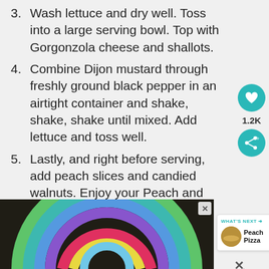3. Wash lettuce and dry well. Toss into a large serving bowl. Top with Gorgonzola cheese and shallots.
4. Combine Dijon mustard through freshly ground black pepper in an airtight container and shake, shake, shake until mixed. Add lettuce and toss well.
5. Lastly, and right before serving, add peach slices and candied walnuts. Enjoy your Peach and Gorgonzola Salad with Tangy Peach Dressing!
6. If you've tried this recipe, come back and let us know how it was!
[Figure (photo): Advertisement showing a chalk rainbow on asphalt pavement, with Williams Sonoma branding below]
[Figure (infographic): What's Next sidebar card showing Peach Pizza recommendation]